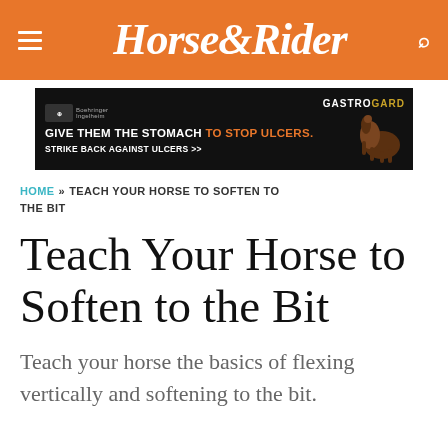Horse&Rider
[Figure (other): GastroGard advertisement banner: GIVE THEM THE STOMACH TO STOP ULCERS. STRIKE BACK AGAINST ULCERS >>]
HOME » TEACH YOUR HORSE TO SOFTEN TO THE BIT
Teach Your Horse to Soften to the Bit
Teach your horse the basics of flexing vertically and softening to the bit.